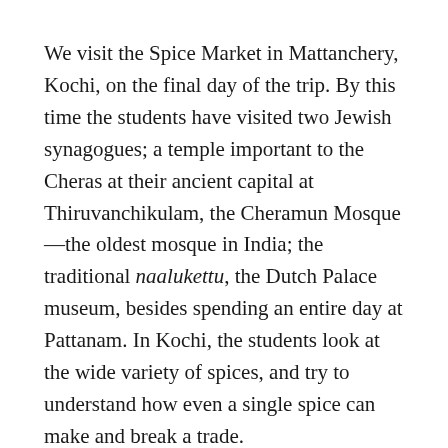We visit the Spice Market in Mattanchery, Kochi, on the final day of the trip. By this time the students have visited two Jewish synagogues; a temple important to the Cheras at their ancient capital at Thiruvanchikulam, the Cheramun Mosque—the oldest mosque in India; the traditional naalukettu, the Dutch Palace museum, besides spending an entire day at Pattanam. In Kochi, the students look at the wide variety of spices, and try to understand how even a single spice can make and break a trade.
The trip from Kottapuram to Kochi is in itself a lesson in changes that have taken